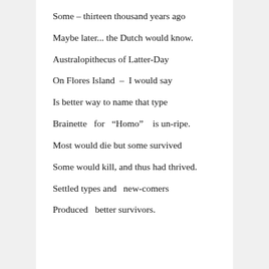Some – thirteen thousand years ago
Maybe later... the Dutch would know.
Australopithecus of Latter-Day
On Flores Island  –  I would say
Is better way to name that type
Brainette  for  “Homo”   is un-ripe.
Most would die but some survived
Some would kill, and thus had thrived.
Settled types and  new-comers
Produced  better survivors.